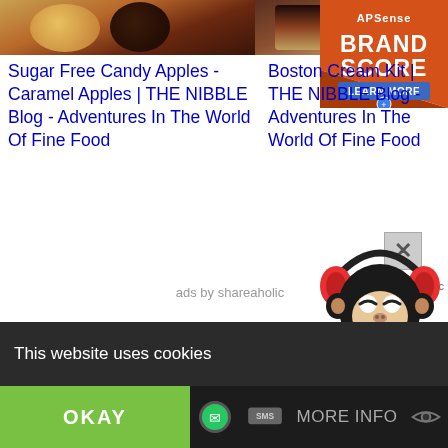[Figure (photo): Food blog screenshot showing candy apples and chocolate desserts at top]
Sugar Free Candy Apples - Caramel Apples | THE NIBBLE Blog - Adventures In The World Of Fine Food
Boston Cream Kit | THE NIBBLE Blog - Adventures In The World Of Fine Food
[Figure (logo): APSense Brand Score badge in orange with Learn More button]
[Figure (illustration): Cartoon monkey with headphones illustration]
ads by shareaholic
by shareaholic
October 3 Horoscope Personality
Pizza Trends For National Pizza Month
This website uses cookies
OKAY
MORE INFO